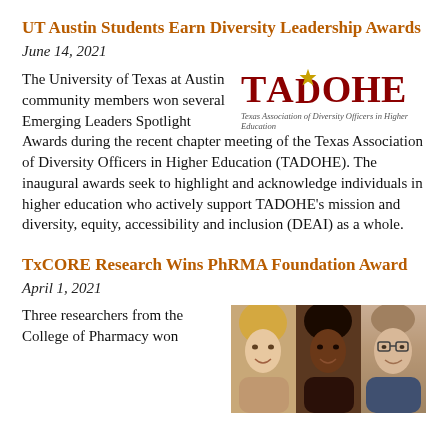UT Austin Students Earn Diversity Leadership Awards
June 14, 2021
The University of Texas at Austin community members won several Emerging Leaders Spotlight Awards during the recent chapter meeting of the Texas Association of Diversity Officers in Higher Education (TADOHE). The inaugural awards seek to highlight and acknowledge individuals in higher education who actively support TADOHE’s mission and diversity, equity, accessibility and inclusion (DEAI) as a whole.
[Figure (logo): TADOHE logo — Texas Association of Diversity Officers in Higher Education — bold dark red text with a gold star replacing the A in TADOHE, italic subtitle below]
TxCORE Research Wins PhRMA Foundation Award
April 1, 2021
Three researchers from the College of Pharmacy won
[Figure (photo): Photo of three researchers side by side: a woman with blonde hair on the left, a Black woman in the middle, and a man with glasses on the right]